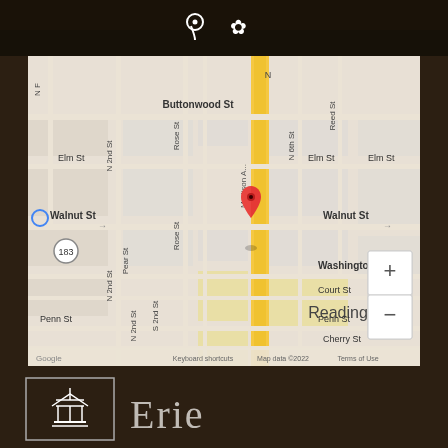[Figure (map): Google Maps screenshot showing Reading, PA area with streets including Buttonwood St, Walnut St, Washington St, Penn St, Cherry St, Madison Ave (yellow highlighted road), Rose St, N 2nd St, Elm St, N 6th St, Reed St, Pear St, Court St. A red location pin is placed near Madison Ave and Walnut St intersection. Zoom controls (+/-) visible on right side. Footer shows: Keyboard shortcuts, Map data ©2022, Terms of Use, Google logo.]
[Figure (logo): Erie insurance or business logo: white building/gazebo icon inside a white-bordered rectangle, followed by the word 'Erie' in light gray large text, on dark wood background.]